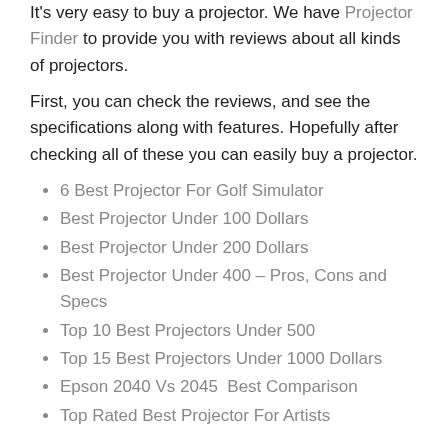It's very easy to buy a projector. We have Projector Finder to provide you with reviews about all kinds of projectors.
First, you can check the reviews, and see the specifications along with features. Hopefully after checking all of these you can easily buy a projector.
6 Best Projector For Golf Simulator
Best Projector Under 100 Dollars
Best Projector Under 200 Dollars
Best Projector Under 400 – Pros, Cons and Specs
Top 10 Best Projectors Under 500
Top 15 Best Projectors Under 1000 Dollars
Epson 2040 Vs 2045  Best Comparison
Top Rated Best Projector For Artists